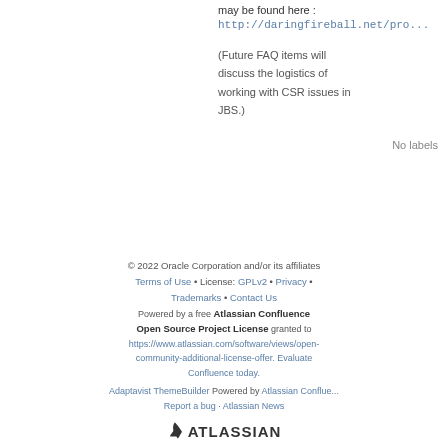may be found here : http://daringfireball.net/pro...
(Future FAQ items will discuss the logistics of working with CSR issues in JBS.)
No labels
© 2022 Oracle Corporation and/or its affiliates
Terms of Use • License: GPLv2 • Privacy • Trademarks • Contact Us
Powered by a free Atlassian Confluence Open Source Project License granted to https://www.atlassian.com/software/views/open-community-additional-license-offer. Evaluate Confluence today.
Adaptavist ThemeBuilder Powered by Atlassian Confluence
Report a bug · Atlassian News
ATLASSIAN